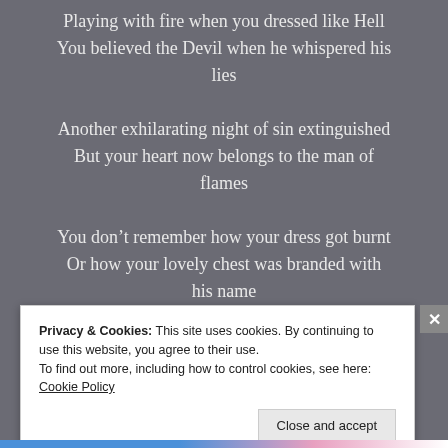Playing with fire when you dressed like Hell
You believed the Devil when he whispered his lies
Another exhilarating night of sin extinguished
But your heart now belongs to the man of flames
You don't remember how your dress got burnt
Or how your lovely chest was branded with his name
Privacy & Cookies: This site uses cookies. By continuing to use this website, you agree to their use.
To find out more, including how to control cookies, see here:
Cookie Policy
Close and accept